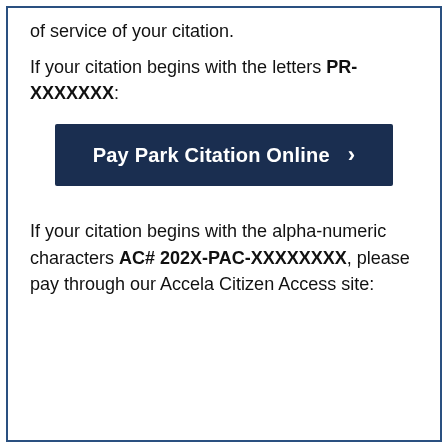of service of your citation.
If your citation begins with the letters PR-XXXXXXX:
[Figure (other): Dark navy blue button labeled 'Pay Park Citation Online' with a right-arrow chevron]
If your citation begins with the alpha-numeric characters AC# 202X-PAC-XXXXXXXX, please pay through our Accela Citizen Access site: